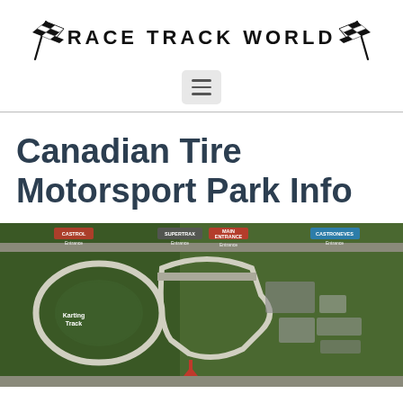RACE TRACK WORLD
[Figure (logo): Race Track World logo with two checkered flags and the text RACE TRACK WORLD in uppercase letters]
[Figure (other): Hamburger menu button (three horizontal lines) in a light gray rounded rectangle]
Canadian Tire Motorsport Park Info
[Figure (map): Aerial satellite map of Canadian Tire Motorsport Park showing the racing circuit, karting track, entrances labeled (Castrol Entrance, Supertrax Entrance, Main Entrance, Castroneves Entrance), and various facilities]